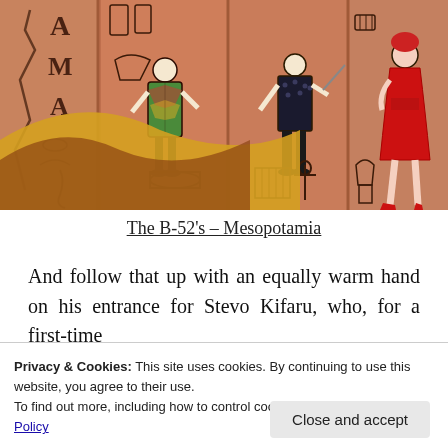[Figure (illustration): Album cover art for The B-52's Mesopotamia — stylized ancient Egyptian-themed illustration with figures of band members depicted as hieroglyphs on an orange/terracotta stone wall, with desert sand dunes in the lower left corner.]
The B-52's – Mesopotamia
And follow that up with an equally warm hand on his entrance for Stevo Kifaru, who, for a first-time
Privacy & Cookies: This site uses cookies. By continuing to use this website, you agree to their use.
To find out more, including how to control cookies, see here: Cookie Policy
Close and accept